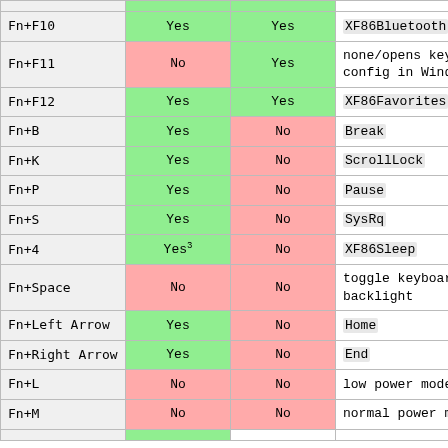| Key | Linux | Windows | Description |
| --- | --- | --- | --- |
| Fn+F10 | Yes | Yes | XF86Bluetooth |
| Fn+F11 | No | Yes | none/opens keyboard config in Windows |
| Fn+F12 | Yes | Yes | XF86Favorites |
| Fn+B | Yes | No | Break |
| Fn+K | Yes | No | ScrollLock |
| Fn+P | Yes | No | Pause |
| Fn+S | Yes | No | SysRq |
| Fn+4 | Yes3 | No | XF86Sleep |
| Fn+Space | No | No | toggle keyboard backlight |
| Fn+Left Arrow | Yes | No | Home |
| Fn+Right Arrow | Yes | No | End |
| Fn+L | No | No | low power mode |
| Fn+M | No | No | normal power mode |